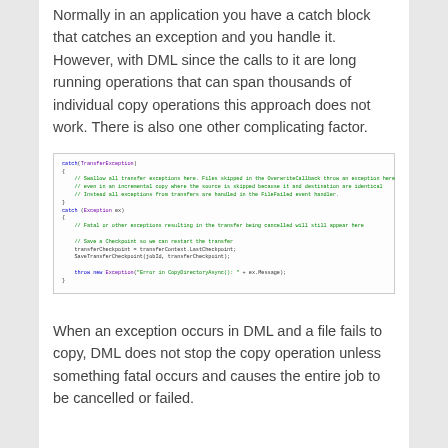Normally in an application you have a catch block that catches an exception and you handle it. However, with DML since the calls to it are long running operations that can span thousands of individual copy operations this approach does not work. There is also one other complicating factor.
[Figure (screenshot): Code block showing C# catch blocks for TransferException and Exception handling, including swallowing transfer exceptions, saving a checkpoint, and rethrowing with a new exception message.]
When an exception occurs in DML and a file fails to copy, DML does not stop the copy operation unless something fatal occurs and causes the entire job to be cancelled or failed.